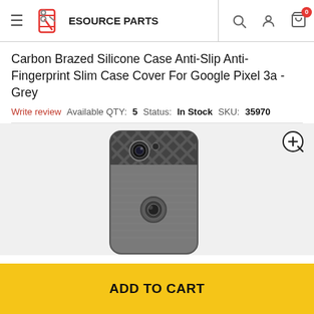ESOURCE PARTS — navigation header with hamburger menu, search, user, and cart icons
Carbon Brazed Silicone Case Anti-Slip Anti-Fingerprint Slim Case Cover For Google Pixel 3a - Grey
Write review   Available QTY: 5   Status: In Stock   SKU: 35970
[Figure (photo): Grey carbon brazed silicone phone case for Google Pixel 3a, showing back of case with carbon fiber pattern at top and brushed metal texture body with camera cutout]
ADD TO CART